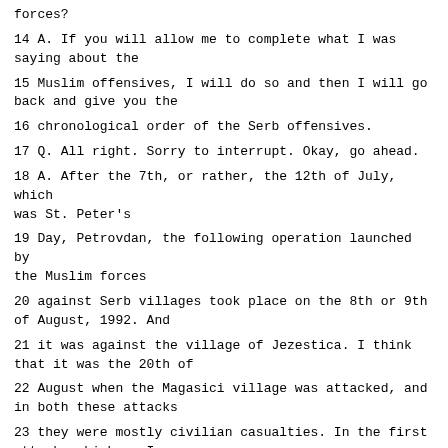forces?
14 A. If you will allow me to complete what I was saying about the
15 Muslim offensives, I will do so and then I will go back and give you the
16 chronological order of the Serb offensives.
17 Q. All right. Sorry to interrupt. Okay, go ahead.
18 A. After the 7th, or rather, the 12th of July, which was St. Peter's
19 Day, Petrovdan, the following operation launched by the Muslim forces
20 against Serb villages took place on the 8th or 9th of August, 1992. And
21 it was against the village of Jezestica. I think that it was the 20th of
22 August when the Magasici village was attacked, and in both these attacks
23 they were mostly civilian casualties. In the first attack, which as I
24 said was between the 8th and 9th against the village of Jezestica,